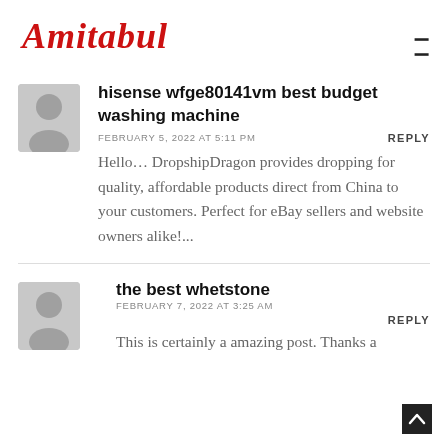Amitabul
hisense wfge80141vm best budget washing machine
FEBRUARY 5, 2022 AT 5:11 PM
REPLY
Hello… DropshipDragon provides dropping for quality, affordable products direct from China to your customers. Perfect for eBay sellers and website owners alike!...
the best whetstone
FEBRUARY 7, 2022 AT 3:25 AM
REPLY
This is certainly a amazing post. Thanks a